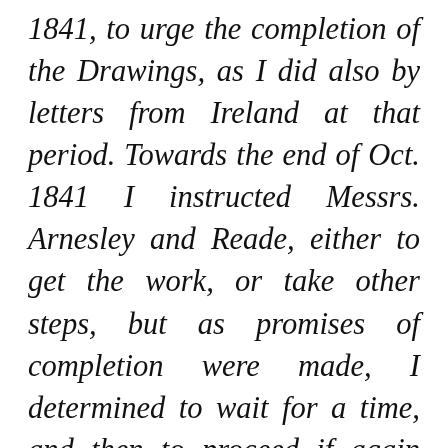1841, to urge the completion of the Drawings, as I did also by letters from Ireland at that period. Towards the end of Oct. 1841 I instructed Messrs. Arnesley and Reade, either to get the work, or take other steps, but as promises of completion were made, I determined to wait for a time, and then to proceed if again disappointed. Accordingly on the 30th of May 1842 I directed Messrs. Sunesley and Reade peremtitorily [?], to commence a suit, should they not find the work completed; which unfortunately